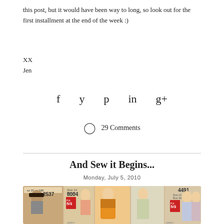this post, but it would have been way to long, so look out for the first installment at the end of the week :)
XX
Jen
[Figure (infographic): Social sharing icons: Facebook, Twitter, Pinterest, LinkedIn, Google+]
29 Comments
And Sew it Begins...
Monday, July 5, 2010
[Figure (photo): Photo of vintage sewing patterns spread out, showing pattern numbers 2537, 8004, 4491 with illustrated women in dresses from approximately 1960s era. Red price stickers showing 5/3.]